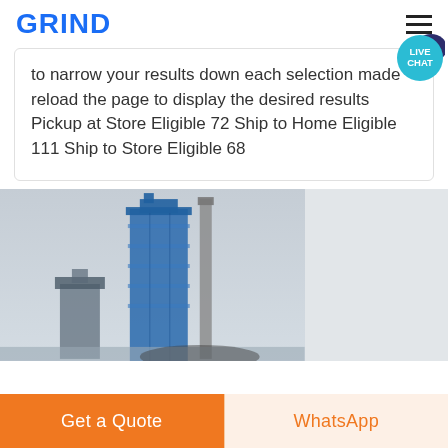GRIND
to narrow your results down each selection made reload the page to display the desired results Pickup at Store Eligible 72 Ship to Home Eligible 111 Ship to Store Eligible 68
[Figure (photo): Industrial grinding or cement plant machinery with blue towers/silos and tall chimney stack against a grey overcast sky]
Get a Quote
WhatsApp